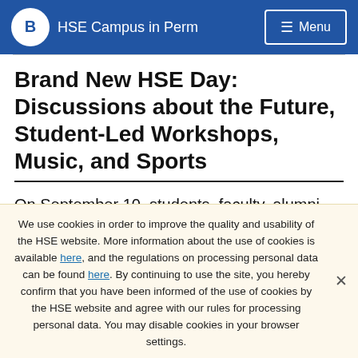HSE Campus in Perm | Menu
Brand New HSE Day: Discussions about the Future, Student-Led Workshops, Music, and Sports
On September 10, students, faculty, alumni, and viewers from all over the world will celebrate one of HSE's biggest events together. This year, for the first
We use cookies in order to improve the quality and usability of the HSE website. More information about the use of cookies is available here, and the regulations on processing personal data can be found here. By continuing to use the site, you hereby confirm that you have been informed of the use of cookies by the HSE website and agree with our rules for processing personal data. You may disable cookies in your browser settings.